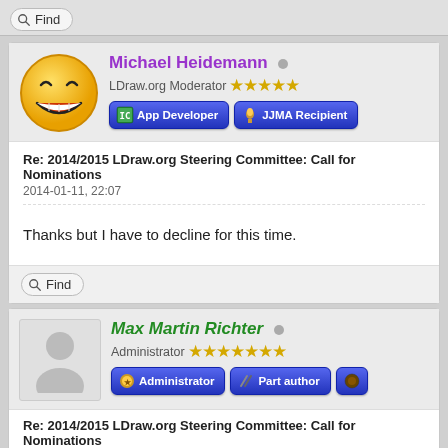[Figure (screenshot): Find button at top of forum page]
[Figure (screenshot): Forum post by Michael Heidemann with smiley avatar, LDraw.org Moderator with 5 stars, App Developer and JJMA Recipient badges]
Re: 2014/2015 LDraw.org Steering Committee: Call for Nominations
2014-01-11, 22:07
Thanks but I have to decline for this time.
[Figure (screenshot): Find button at bottom of Michael Heidemann post]
[Figure (screenshot): Forum post by Max Martin Richter with placeholder avatar, Administrator with 7 stars, Administrator and Part author badges]
Re: 2014/2015 LDraw.org Steering Committee: Call for Nominations